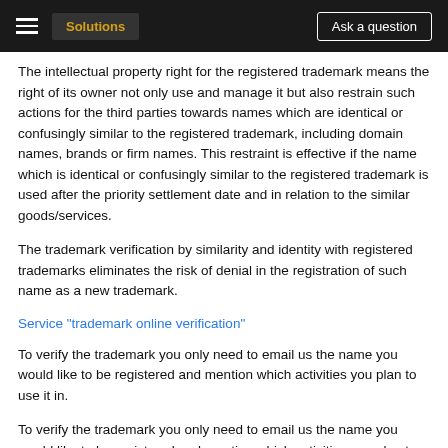Solutions | Ask a question
The intellectual property right for the registered trademark means the right of its owner not only use and manage it but also restrain such actions for the third parties towards names which are identical or confusingly similar to the registered trademark, including domain names, brands or firm names. This restraint is effective if the name which is identical or confusingly similar to the registered trademark is used after the priority settlement date and in relation to the similar goods/services.
The trademark verification by similarity and identity with registered trademarks eliminates the risk of denial in the registration of such name as a new trademark.
Service "trademark online verification"
To verify the trademark you only need to email us the name you would like to be registered and mention which activities you plan to use it in.
To verify the trademark you only need to email us the name you would like to be registered and mention which activities you plan to use it in.